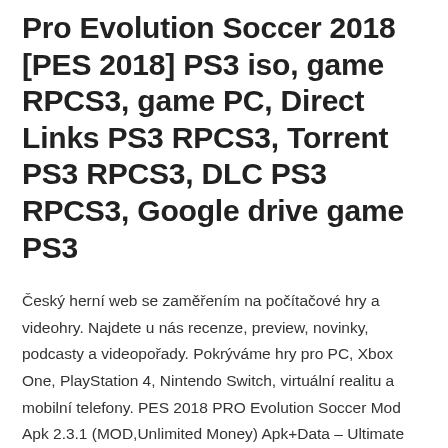Pro Evolution Soccer 2018 [PES 2018] PS3 iso, game RPCS3, game PC, Direct Links PS3 RPCS3, Torrent PS3 RPCS3, DLC PS3 RPCS3, Google drive game PS3
Český herní web se zaměřením na počítačové hry a videohry. Najdete u nás recenze, preview, novinky, podcasty a videopořady. Pokrýváme hry pro PC, Xbox One, PlayStation 4, Nintendo Switch, virtuální realitu a mobilní telefony. PES 2018 PRO Evolution Soccer Mod Apk 2.3.1 (MOD,Unlimited Money) Apk+Data – Ultimate PSP 2018 Android Game with Data The official version of the 2018 PC game for Android for the first time in Iran on April 25 special offer Hari ini admin portalplaygame.com akan berbagi game yang sudah dihighly